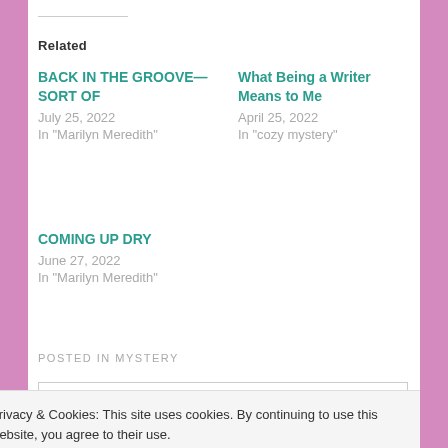Related
BACK IN THE GROOVE—SORT OF
July 25, 2022
In "Marilyn Meredith"
What Being a Writer Means to Me
April 25, 2022
In "cozy mystery"
COMING UP DRY
June 27, 2022
In "Marilyn Meredith"
POSTED IN MYSTERY
Privacy & Cookies: This site uses cookies. By continuing to use this website, you agree to their use.
To find out more, including how to control cookies, see here: Cookie Policy
Close and accept